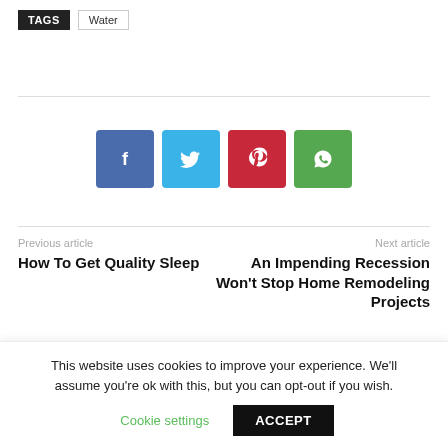TAGS  Water
[Figure (infographic): Social sharing buttons: Facebook (blue), Twitter (light blue), Pinterest (red), WhatsApp (green)]
Previous article
How To Get Quality Sleep
Next article
An Impending Recession Won't Stop Home Remodeling Projects
This website uses cookies to improve your experience. We'll assume you're ok with this, but you can opt-out if you wish.
Cookie settings  ACCEPT